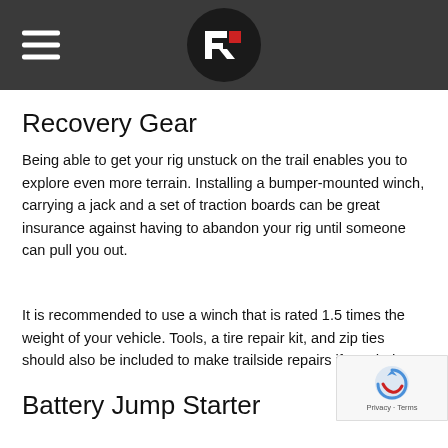Recovery Gear - Navigation header with logo
Recovery Gear
Being able to get your rig unstuck on the trail enables you to explore even more terrain. Installing a bumper-mounted winch, carrying a jack and a set of traction boards can be great insurance against having to abandon your rig until someone can pull you out.
It is recommended to use a winch that is rated 1.5 times the weight of your vehicle. Tools, a tire repair kit, and zip ties should also be included to make trailside repairs if needed.
Battery Jump Starter